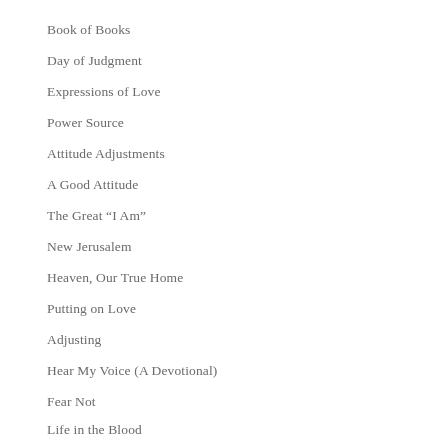Book of Books
Day of Judgment
Expressions of Love
Power Source
Attitude Adjustments
A Good Attitude
The Great “I Am”
New Jerusalem
Heaven, Our True Home
Putting on Love
Adjusting
Hear My Voice (A Devotional)
Fear Not
Life in the Blood